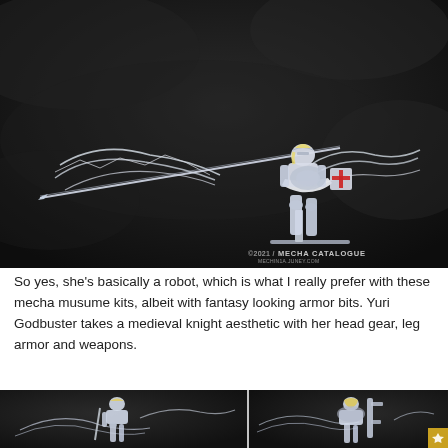[Figure (photo): Action figure of Yuri Godbuster, a mecha musume character in white medieval knight armor with wings and a very long lance/spear, displayed on a stand against a dark rocky background. Watermark reads 'MECHA CATALOGUE' with a website URL.]
So yes, she's basically a robot, which is what I really prefer with these mecha musume kits, albeit with fantasy looking armor bits. Yuri Godbuster takes a medieval knight aesthetic with her head gear, leg armor and weapons.
[Figure (photo): Close-up of the Yuri Godbuster action figure from the front-left, showing detailed armor, weapons and wings against a dark background.]
[Figure (photo): Close-up of the Yuri Godbuster action figure from the back-right, showing the rear view of the armor and wings against a dark background.]